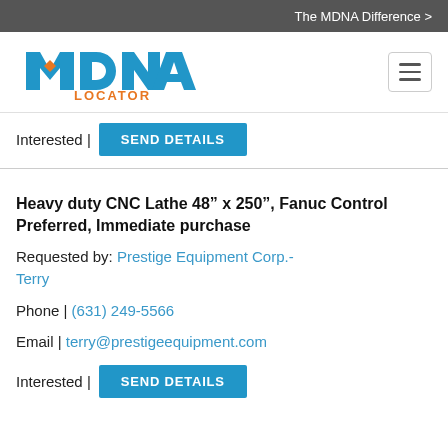The MDNA Difference >
[Figure (logo): MDNA Locator logo with blue MDNA text and orange LOCATOR text]
Interested | SEND DETAILS
Heavy duty CNC Lathe 48” x 250”, Fanuc Control Preferred, Immediate purchase
Requested by: Prestige Equipment Corp.- Terry
Phone | (631) 249-5566
Email | terry@prestigeequipment.com
Interested | SEND DETAILS